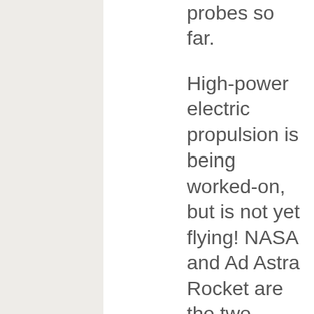probes so far.
High-power electric propulsion is being worked-on, but is not yet flying!  NASA and Ad Astra Rocket are the two largest outfits doing work on high-power electric propulsion. The NASA effort concerns me,  because it has spent